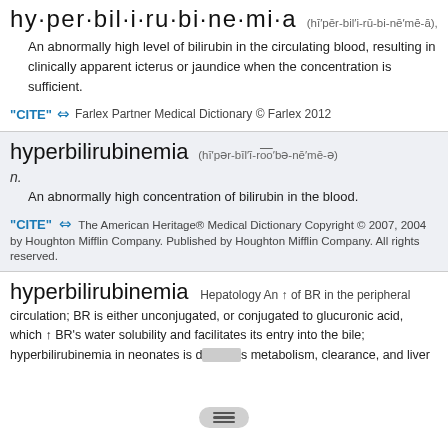hy·per·bil·i·ru·bi·ne·mi·a (hī′pər-bil′i-rū-bi-nē′mē-ā),
An abnormally high level of bilirubin in the circulating blood, resulting in clinically apparent icterus or jaundice when the concentration is sufficient.
"CITE" 🔗 Farlex Partner Medical Dictionary © Farlex 2012
hyperbilirubinemia (hī′pər-bīl′ī-ro͞o′bə-nē′mē-ə)
n.
An abnormally high concentration of bilirubin in the blood.
"CITE" 🔗 The American Heritage® Medical Dictionary Copyright © 2007, 2004 by Houghton Mifflin Company. Published by Houghton Mifflin Company. All rights reserved.
hyperbilirubinemia
Hepatology An ↑ of BR in the peripheral circulation; BR is either unconjugated, or conjugated to glucuronic acid, which ↑ BR's water solubility and facilitates its entry into the bile; hyperbilirubinemia in neonates is d... metabolism, clearance, and liver